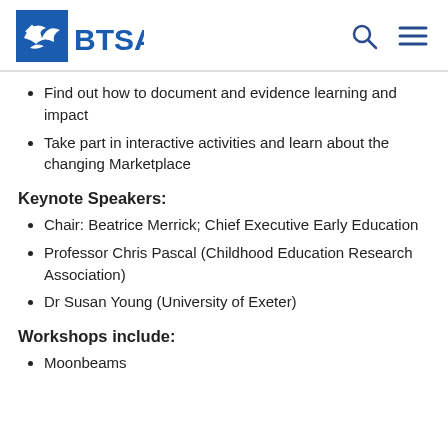BTSA
Find out how to document and evidence learning and impact
Take part in interactive activities and learn about the changing Marketplace
Keynote Speakers:
Chair: Beatrice Merrick; Chief Executive Early Education
Professor Chris Pascal (Childhood Education Research Association)
Dr Susan Young (University of Exeter)
Workshops include:
Moonbeams